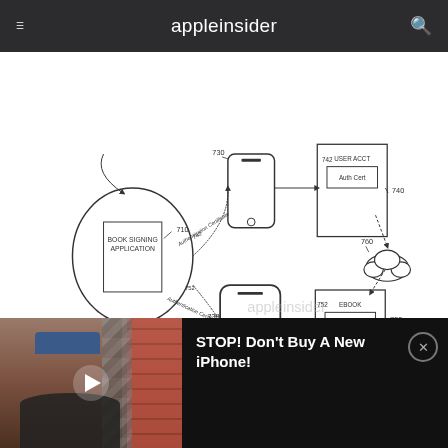appleinsider
[Figure (schematic): Patent diagram showing a Book Signing Application system. Left: circle labeled 'BOOK SIGNING APPLICATION' (710) connected via double arrows to a 'Certificate Database' (715) cylinder below. Top center: mobile phone (730) with arrow from book signing app labeled '742 Authentication Certificate'. The phone connects to a 'USER ACCT' document (740) containing 'Auth Cert' box (742). From USER ACCT, arrows point to a cloud shape (760). Bottom center: tablet device (730) connected via '752 Authentication Certificate' arrow from book signing app. Tablet connects to 'EBOOK' document (750) with 'Auth Cert' box (752). Cloud also connects to EBOOK. Watermark: 'appleinsider' in light gray.]
Finally, the patent describes virtual signings that
[Figure (screenshot): Video player banner at bottom. Left side shows a person (man in dark polo shirt and baseball cap) with brick wall and hexagonal pattern background. Right side on black background shows title 'STOP! Don't Buy A New iPhone!' with a circular X close button.]